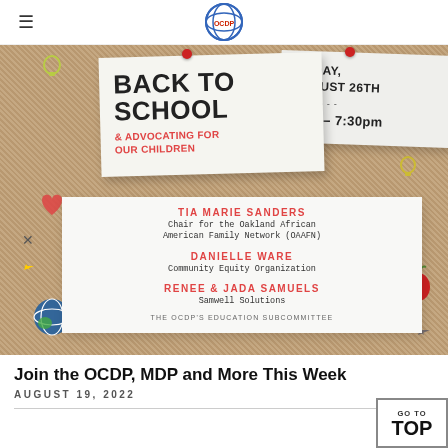≡ [OCDP logo]
[Figure (infographic): Back to school event flyer on cork board background. Left note: BACK TO SCHOOL & ADVOCATING FOR OUR CHILDREN. Right note: FRIDAY, AUGUST 26TH, 6pm-7:30pm. Bottom card lists speakers: TIA MARIE SANDERS (Chair for the Oakland African American Family Network (OAAFN)), DANIELLE WARE (Community Equity Organization), RENEE & JADA SAMUELS (Samwell Solutions). Footer: THE OCDP'S EDUCATION SUBCOMMITTEE.]
Join the OCDP, MDP and More This Week
AUGUST 19, 2022